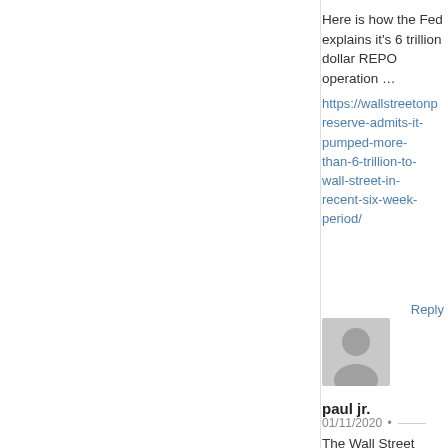Here is how the Fed explains it's 6 trillion dollar REPO operation …
https://wallstreetonp reserve-admits-it-pumped-more-than-6-trillion-to-wall-street-in-recent-six-week-period/
Reply
[Figure (illustration): Default user avatar placeholder — grey silhouette of a person on light grey background]
paul jr.
01/11/2020 •
The Wall Street Journal (and